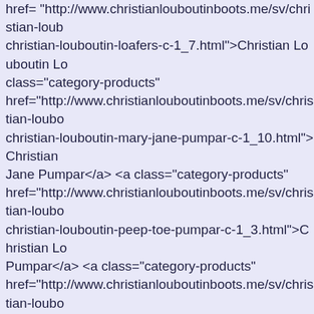href="http://www.christianlouboutinboots.me/sv/christian-louboutin-loafers-c-1_7.html">Christian Louboutin Loafers class="category-products" href="http://www.christianlouboutinboots.me/sv/christian-louboutin-mary-jane-pumpar-c-1_10.html">Christian Jane Pumpar</a> <a class="category-products" href="http://www.christianlouboutinboots.me/sv/christian-louboutin-peep-toe-pumpar-c-1_3.html">Christian Louboutin Peep Toe Pumpar</a> <a class="category-products" href="http://www.christianlouboutinboots.me/sv/christian-louboutin-plattformar-c-1_12.html">Christian Louboutin Plattformar <a class="category-products" href="http://www.christianlouboutinboots.me/sv/christian-louboutin-pumpar-c-1_5.html">Christian Louboutin Pumpar class="category-products" href="http://www.christianlouboutinboots.me/sv/christian-louboutin-sandaler-c-1_2.html"><span class="category-selected">Christian Louboutin Sandaler</span></a> <a class="category-products" href="http://www.christianlouboutinboots.me/sv/christian-louboutin-s%C3%A4rskilda-tillf%C3%A4llen-c-1_9.html">Christian Louboutin Särskilda tillfällen</a> <a class="category-products" href="http://www.christianlouboutinboots.me/sv/christian-louboutin-slingbacks-c-1_4.html">Christian Louboutin Slingbacks class="category-products" href="http://www.christianlouboutinboots.me/sv/christian-louboutin-sneakers-c-1_11.html">Christian Louboutin Sneakers